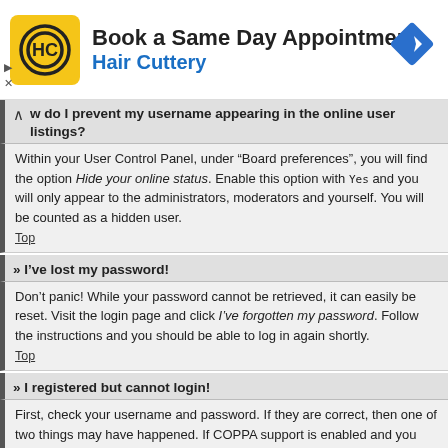[Figure (other): Hair Cuttery advertisement banner: yellow square logo with HC monogram, text 'Book a Same Day Appointment' and 'Hair Cuttery', blue diamond navigation icon on right, ad controls (triangle and X) on lower left]
» How do I prevent my username appearing in the online user listings?
Within your User Control Panel, under “Board preferences”, you will find the option Hide your online status. Enable this option with Yes and you will only appear to the administrators, moderators and yourself. You will be counted as a hidden user.
Top
» I’ve lost my password!
Don’t panic! While your password cannot be retrieved, it can easily be reset. Visit the login page and click I’ve forgotten my password. Follow the instructions and you should be able to log in again shortly.
Top
» I registered but cannot login!
First, check your username and password. If they are correct, then one of two things may have happened. If COPPA support is enabled and you specified being under 13 years old during registration, you will have to follow the instructions you received. Some boards will also require new registrations to be activated,